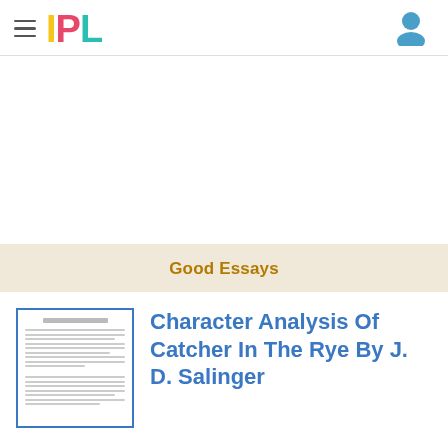IPL
[Figure (screenshot): IPL website screenshot showing Good Essays section with Character Analysis of Catcher in the Rye essay card]
Good Essays
[Figure (illustration): Thumbnail preview of essay document with blue border]
Character Analysis Of Catcher In The Rye By J. D. Salinger